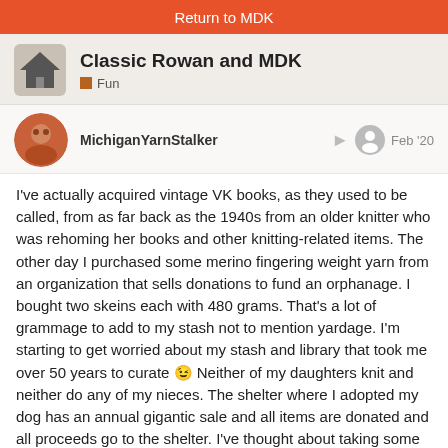Return to MDK
Classic Rowan and MDK
Fun
MichiganYarnStalker
Feb '20
I've actually acquired vintage VK books, as they used to be called, from as far back as the 1940s from an older knitter who was rehoming her books and other knitting-related items. The other day I purchased some merino fingering weight yarn from an organization that sells donations to fund an orphanage. I bought two skeins each with 480 grams. That's a lot of grammage to add to my stash not to mention yardage. I'm starting to get worried about my stash and library that took me over 50 years to curate 😉 Neither of my daughters knit and neither do any of my nieces. The shelter where I adopted my dog has an annual gigantic sale and all items are donated and all proceeds go to the shelter. I've thought about taking some things there while I'm still an earthly resident.
A friend of mine is losing her battle with th…
10 / 16